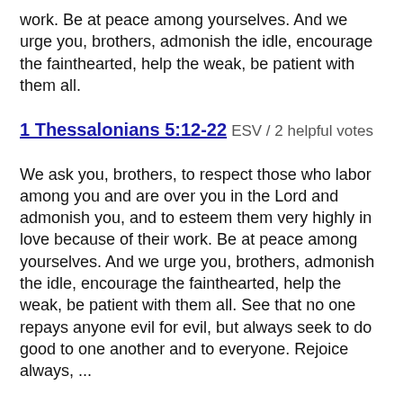work. Be at peace among yourselves. And we urge you, brothers, admonish the idle, encourage the fainthearted, help the weak, be patient with them all.
1 Thessalonians 5:12-22 ESV / 2 helpful votes
We ask you, brothers, to respect those who labor among you and are over you in the Lord and admonish you, and to esteem them very highly in love because of their work. Be at peace among yourselves. And we urge you, brothers, admonish the idle, encourage the fainthearted, help the weak, be patient with them all. See that no one repays anyone evil for evil, but always seek to do good to one another and to everyone. Rejoice always, ...
1 Thessalonians 5:1 ESV / 2 helpful votes
Now concerning the times and the seasons, brothers, you have no need to have anything written to you.
1 Thessalonians 4:3-7 ESV / 2 helpful votes
For this is the will of God, your sanctification: that you